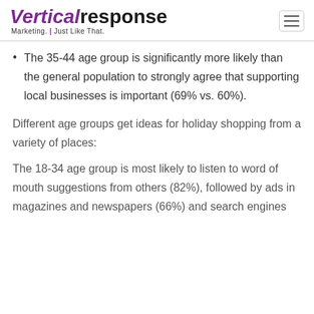VerticalResponse Marketing. Just Like That.
The 35-44 age group is significantly more likely than the general population to strongly agree that supporting local businesses is important (69% vs. 60%).
Different age groups get ideas for holiday shopping from a variety of places:
The 18-34 age group is most likely to listen to word of mouth suggestions from others (82%), followed by ads in magazines and newspapers (66%) and search engines